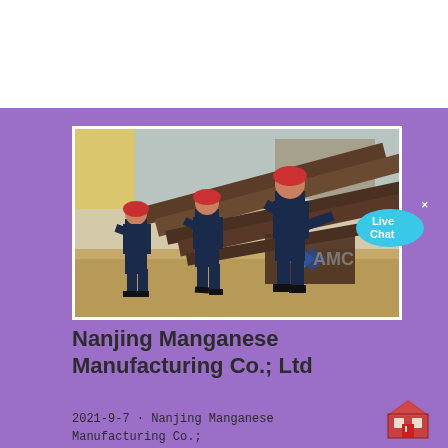[Figure (photo): Construction workers in blue uniforms and red hard hats working with steel beams at a construction site. AMC logo visible on the beams in the foreground.]
Nanjing Manganese Manufacturing Co.; Ltd
2021-9-7 · Nanjing Manganese Manufacturing Co.; Ltd, which had specialized in casting crusher wear